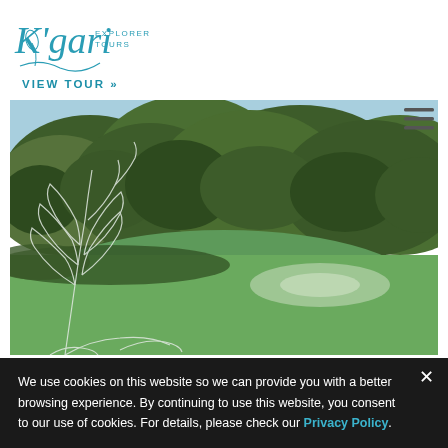[Figure (logo): K'gari Explorer Tours logo in teal/blue script font with botanical line art]
VIEW TOUR »
[Figure (photo): Aerial photo of a green lake surrounded by dense forested hills on K'gari (Fraser Island), with white botanical line art overlay on left side]
We use cookies on this website so we can provide you with a better browsing experience. By continuing to use this website, you consent to our use of cookies. For details, please check our Privacy Policy.